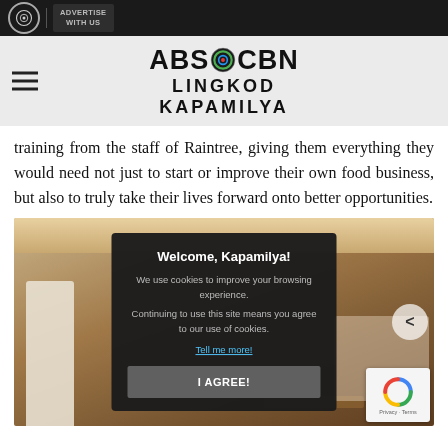ABS-CBN Lingkod Kapamilya — navigation bar with Advertise With Us button
training from the staff of Raintree, giving them everything they would need not just to start or improve their own food business, but also to truly take their lives forward onto better opportunities.
[Figure (photo): Restaurant interior photo showing a person presenting or training, with seated group on the right. A cookie consent dialog overlays the image.]
Welcome, Kapamilya!
We use cookies to improve your browsing experience. Continuing to use this site means you agree to our use of cookies.
Tell me more!
I AGREE!